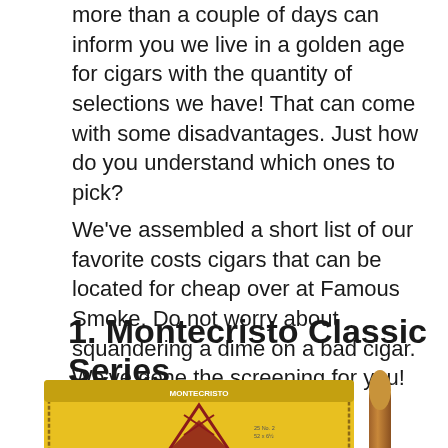more than a couple of days can inform you we live in a golden age for cigars with the quantity of selections we have! That can come with some disadvantages. Just how do you understand which ones to pick?
We've assembled a short list of our favorite costs cigars that can be located for cheap over at Famous Smoke. Do not worry about squandering a dime on a bad cigar. We've done the screening for you!
1. Montecristo Classic Series
[Figure (photo): Montecristo Classic Series cigar box (yellow) with Montecristo logo and a single cigar beside it]